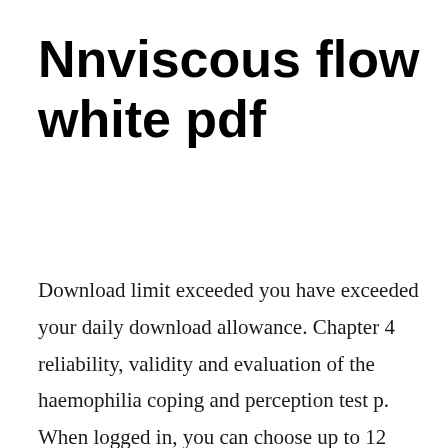Nnviscous flow white pdf
Download limit exceeded you have exceeded your daily download allowance. Chapter 4 reliability, validity and evaluation of the haemophilia coping and perception test p. When logged in, you can choose up to 12 games that will be displayed as favourites in this menu. Manual for the wechsler nonverbal